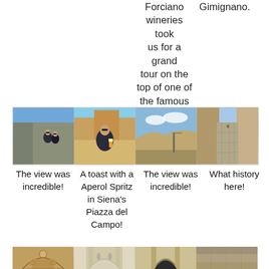Forciano wineries took us for a grand tour on the top of one of the famous towers of San Gimignano.
Gimignano.
[Figure (photo): Two people sitting on top of a stone tower with blue sky, San Gimignano]
[Figure (photo): Person holding an Aperol Spritz in Siena's Piazza del Campo with crowds behind]
[Figure (photo): Panoramic view of Tuscan countryside from tower top]
[Figure (photo): Narrow cobblestone alley in historic town with stone buildings]
The view was incredible!
A toast with a Aperol Spritz in Siena's Piazza del Campo!
The view was incredible!
What history here!
[Figure (photo): Ornate architectural detail of a church facade]
[Figure (photo): White marble church facade with sculptures]
[Figure (photo): Archway of a historic building]
[Figure (photo): Stone corridor or passage]